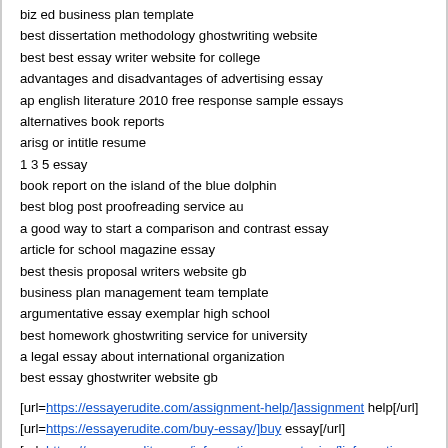biz ed business plan template
best dissertation methodology ghostwriting website
best best essay writer website for college
advantages and disadvantages of advertising essay
ap english literature 2010 free response sample essays
alternatives book reports
arisg or intitle resume
1 3 5 essay
book report on the island of the blue dolphin
best blog post proofreading service au
a good way to start a comparison and contrast essay
article for school magazine essay
best thesis proposal writers website gb
business plan management team template
argumentative essay exemplar high school
best homework ghostwriting service for university
a legal essay about international organization
best essay ghostwriter website gb
[url=https://essayerudite.com/assignment-help/]assignment help[/url]
[url=https://essayerudite.com/buy-essay/]buy essay[/url]
[url=https://essayerudite.com/informative-essay-topics/]informative essay topics[/url]
[url=https://essayerudite.com/do-my-essay/]do my essay[/url]
[url=https://essayerudite.com/definition-essay-topics/]definition essay topics[/url]
[url=http://gxh9.com/thread-80610-1-1.html]asu dissertation format guide[/url]
[url=http://tls3d.fr/forum/viewtopic.php?f=82&t=174508]best thesis ghostwriters for hire[/url]
[url=http://zijtianzishan.com/home/forum.php?